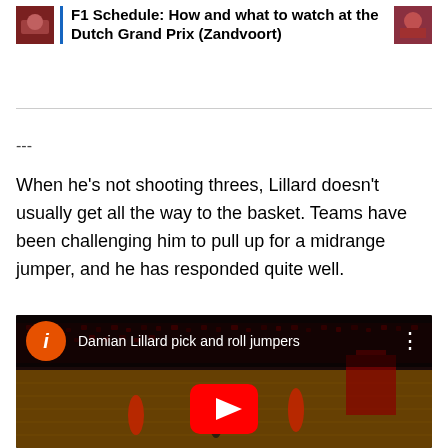F1 Schedule: How and what to watch at the Dutch Grand Prix (Zandvoort)
---
When he's not shooting threes, Lillard doesn't usually get all the way to the basket. Teams have been challenging him to pull up for a midrange jumper, and he has responded quite well.
[Figure (screenshot): YouTube video embed showing 'Damian Lillard pick and roll jumpers' with an orange YouTube avatar with letter i, three-dot menu, and a basketball game scene with a YouTube play button overlay]